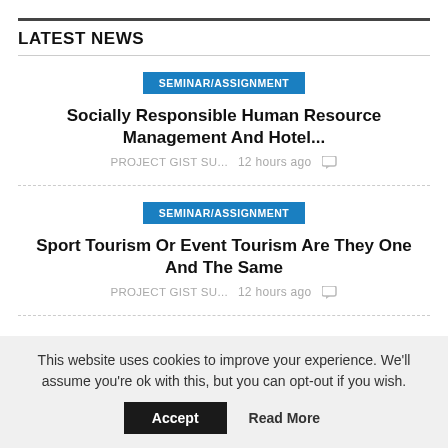LATEST NEWS
SEMINAR/ASSIGNMENT — Socially Responsible Human Resource Management And Hotel… — PROJECT GIST SU... 12 hours ago
SEMINAR/ASSIGNMENT — Sport Tourism Or Event Tourism Are They One And The Same — PROJECT GIST SU... 12 hours ago
This website uses cookies to improve your experience. We'll assume you're ok with this, but you can opt-out if you wish. Accept Read More